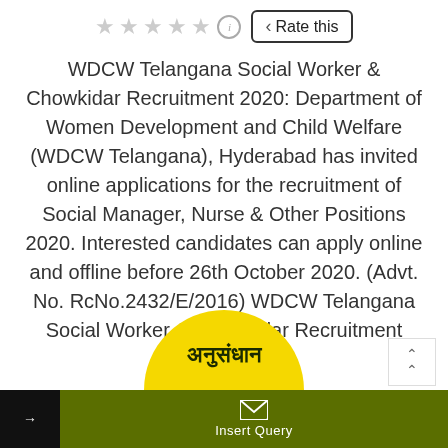[Figure (infographic): Five grey star rating icons followed by an info (i) circle icon and a 'Rate this' button with a left-pointing chevron, forming a rating widget]
WDCW Telangana Social Worker & Chowkidar Recruitment 2020: Department of Women Development and Child Welfare (WDCW Telangana), Hyderabad has invited online applications for the recruitment of Social Manager, Nurse & Other Positions 2020. Interested candidates can apply online and offline before 26th October 2020. (Advt. No. RcNo.2432/E/2016) WDCW Telangana Social Worker & Chowkidar Recruitment 2020: [...]
READ MORE
[Figure (logo): Yellow circular logo with Devanagari script text, partially visible at the bottom of the page]
Insert Query